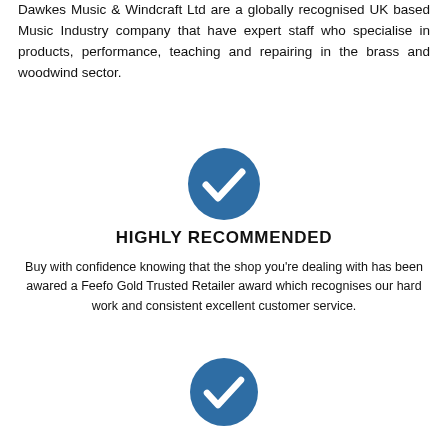Dawkes Music & Windcraft Ltd are a globally recognised UK based Music Industry company that have expert staff who specialise in products, performance, teaching and repairing in the brass and woodwind sector.
[Figure (illustration): Blue circle with white checkmark icon]
HIGHLY RECOMMENDED
Buy with confidence knowing that the shop you're dealing with has been awared a Feefo Gold Trusted Retailer award which recognises our hard work and consistent excellent customer service.
[Figure (illustration): Blue circle with white checkmark icon]
14 DAY APPROVAL
Try your item at home, in a lesson, in the band and make sure it's perfect for you. If you are not convinced we can refund the item in full upon return. (£3 re-stocking fee on any mouthpieces, approval not available on reeds).
[Figure (illustration): Blue circle with white checkmark icon (partially visible at bottom)]